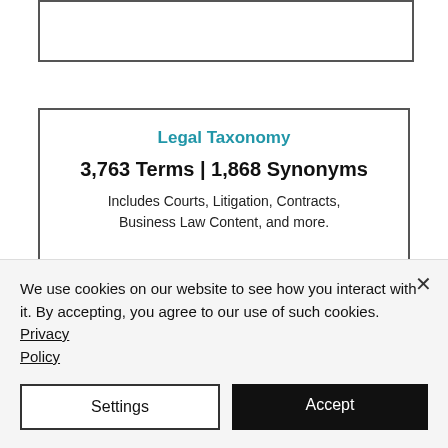[Figure (screenshot): Partial top card with border, cropped at top of page]
Legal Taxonomy
3,763 Terms | 1,868 Synonyms
Includes Courts, Litigation, Contracts, Business Law Content, and more.
We use cookies on our website to see how you interact with it. By accepting, you agree to our use of such cookies. Privacy Policy
Settings
Accept